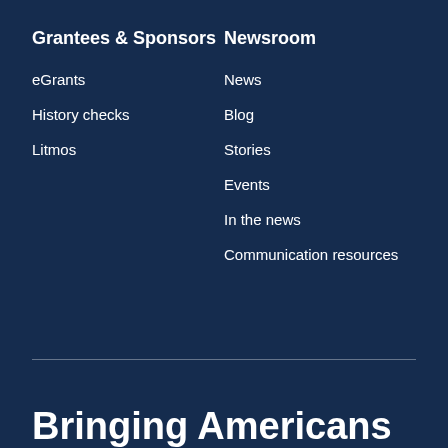Grantees & Sponsors
Newsroom
eGrants
History checks
Litmos
News
Blog
Stories
Events
In the news
Communication resources
Bringing Americans